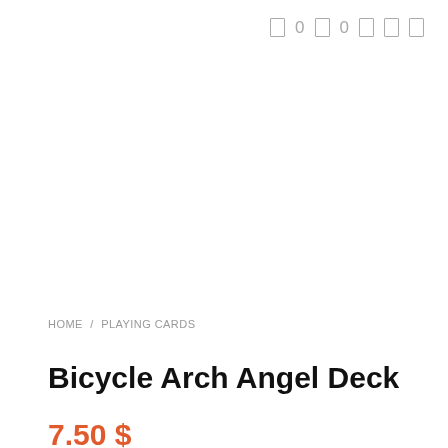[ 0 [ 0 [ [ [
HOME / PLAYING CARDS
Bicycle Arch Angel Deck
7.50 $